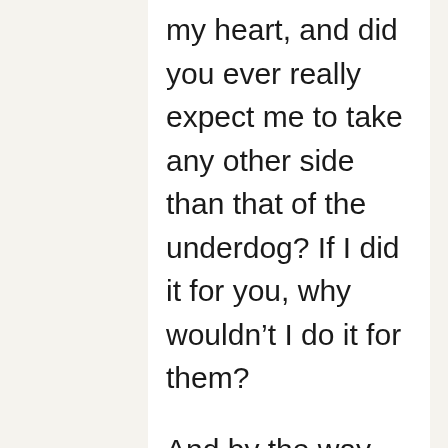my heart, and did you ever really expect me to take any other side than that of the underdog? If I did it for you, why wouldn't I do it for them?
And by the way, I'm still waiting for all of that “evidence” asserted by your opposition in the sheriff’s race. It seems, to me at least, that there may have been an ulterior motive behind those